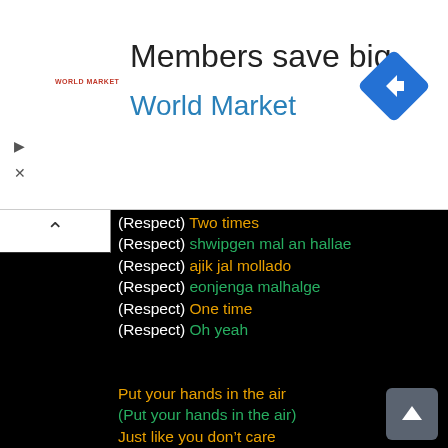[Figure (screenshot): Advertisement banner: 'Members save big World Market' with World Market logo and blue diamond road sign icon]
(Respect) Two times
(Respect) shwipgen mal an hallae
(Respect) ajik jal mollado
(Respect) eonjenga malhalge
(Respect) One time
(Respect) Oh yeah
Put your hands in the air
(Put your hands in the air)
Just like you don't care
(Just like you don't care)
Ayo SUGA
내 손 위에도 두 손
“Respect”
내 안 목소리 할 수 있어
내 안 되는 한 두 번 아니 돼